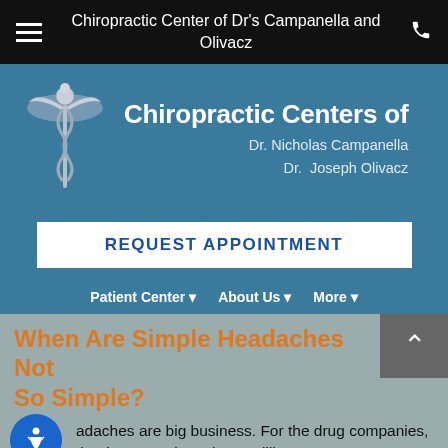Chiropractic Center of Dr's Campanella and Olivacz
[Figure (logo): Chiropractic Centers of Dr. Nicholas Campanella Dr. Joseph Olivacz logo with caduceus/medical symbol on teal background]
REQUEST APPOINTMENT
Patient Center ▾   About Us ▾   More ▾
When Are Simple Headaches Not So Simple?
adaches are big business. For the drug companies, that is. Approximately 10 million